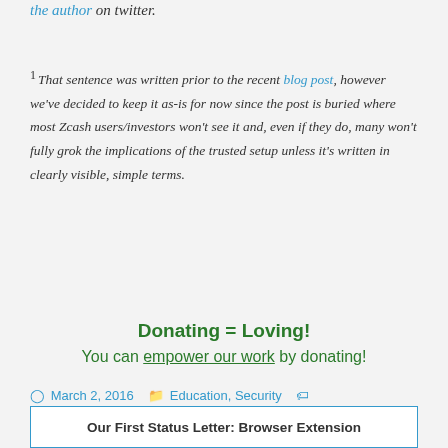the author on twitter.
1 That sentence was written prior to the recent blog post, however we've decided to keep it as-is for now since the post is buried where most Zcash users/investors won't see it and, even if they do, many won't fully grok the implications of the trusted setup unless it's written in clearly visible, simple terms.
Donating = Loving!
You can empower our work by donating!
March 2, 2016   Education, Security   cryptocurrencies, education, greg, privacy, security, transparency, zcash   Greg Slepak
Our First Status Letter: Browser Extension